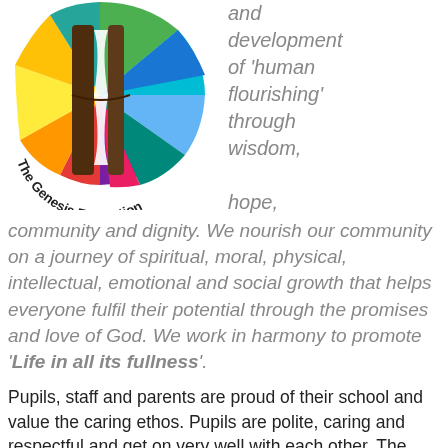[Figure (logo): The Genesis Federation circular logo with colourful segments and brown book/cross shape in the centre, with text 'The Genesis Federation' curving around the bottom]
and development of 'human flourishing' through wisdom, hope, community and dignity. We nourish our community on a journey of spiritual, moral, physical, intellectual, emotional and social growth that helps everyone fulfil their potential through the promises and love of God. We work in harmony to promote 'Life in all its fullness'.
Pupils, staff and parents are proud of their school and value the caring ethos. Pupils are polite, caring and respectful and get on very well with each other. The partiall...